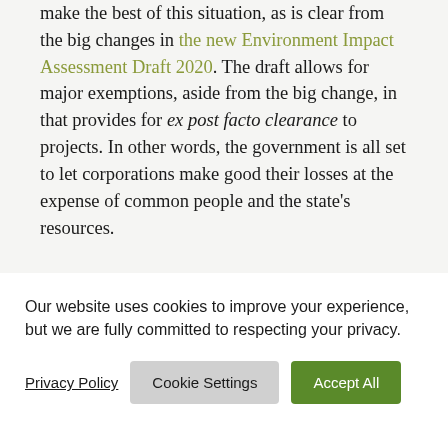make the best of this situation, as is clear from the big changes in the new Environment Impact Assessment Draft 2020. The draft allows for major exemptions, aside from the big change, in that provides for ex post facto clearance to projects. In other words, the government is all set to let corporations make good their losses at the expense of common people and the state's resources.
[1] The word 'Puranic' (Pauranic in
Our website uses cookies to improve your experience, but we are fully committed to respecting your privacy.